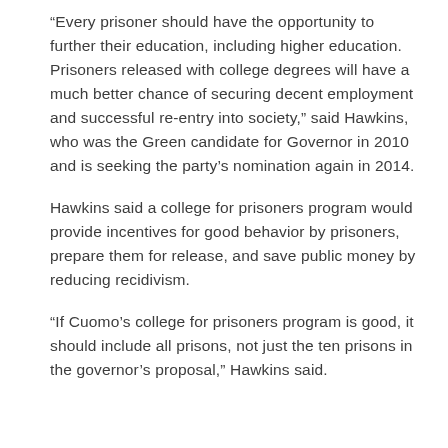“Every prisoner should have the opportunity to further their education, including higher education. Prisoners released with college degrees will have a much better chance of securing decent employment and successful re-entry into society,” said Hawkins, who was the Green candidate for Governor in 2010 and is seeking the party’s nomination again in 2014.
Hawkins said a college for prisoners program would provide incentives for good behavior by prisoners, prepare them for release, and save public money by reducing recidivism.
“If Cuomo’s college for prisoners program is good, it should include all prisons, not just the ten prisons in the governor’s proposal,” Hawkins said.